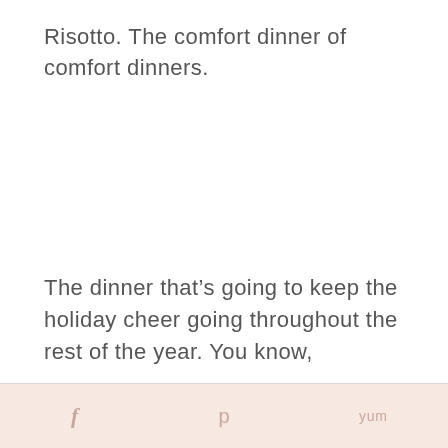Risotto. The comfort dinner of comfort dinners.
The dinner that’s going to keep the holiday cheer going throughout the rest of the year. You know,
f  p  yum